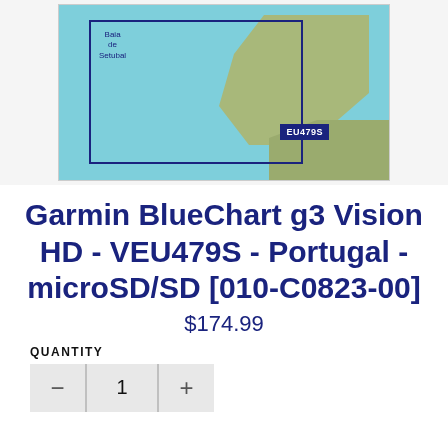[Figure (map): Garmin BlueChart map showing Portugal coastline including Baia de Setubal, with a blue chart coverage box overlay and label EU479S]
Garmin BlueChart g3 Vision HD - VEU479S - Portugal - microSD/SD [010-C0823-00]
$174.99
QUANTITY
1